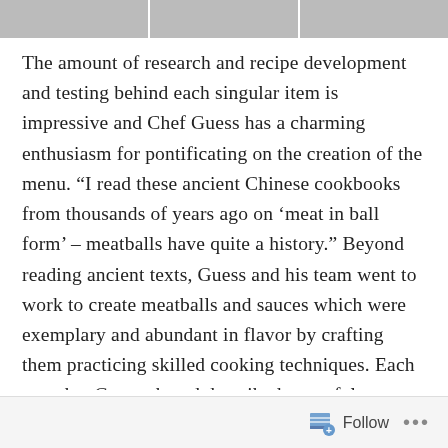[Figure (photo): Top strip showing three partial food/restaurant images cropped at the top of the page]
The amount of research and recipe development and testing behind each singular item is impressive and Chef Guess has a charming enthusiasm for pontificating on the creation of the menu. “I read these ancient Chinese cookbooks from thousands of years ago on ‘meat in ball form’ – meatballs have quite a history.” Beyond reading ancient texts, Guess and his team went to work to create meatballs and sauces which were exemplary and abundant in flavor by crafting them practicing skilled cooking techniques. Each step that Guess shared described a careful attention to individual component, each building upon the next until, voila, a plump turkey meatball with the tooth of a fine chicken terrine, a pistou that exploded with vibrancy and complex flavor, firm, beautifully textured spaghetti hand cranked
Follow ...